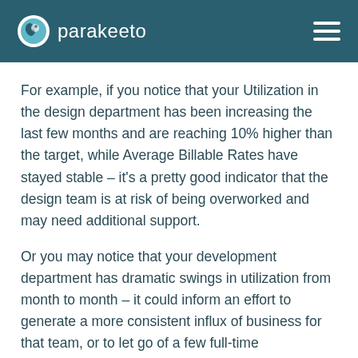parakeeto
For example, if you notice that your Utilization in the design department has been increasing the last few months and are reaching 10% higher than the target, while Average Billable Rates have stayed stable – it's a pretty good indicator that the design team is at risk of being overworked and may need additional support.
Or you may notice that your development department has dramatic swings in utilization from month to month – it could inform an effort to generate a more consistent influx of business for that team, or to let go of a few full-time